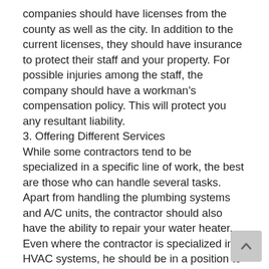companies should have licenses from the county as well as the city. In addition to the current licenses, they should have insurance to protect their staff and your property. For possible injuries among the staff, the company should have a workman’s compensation policy. This will protect you any resultant liability.
3. Offering Different Services
While some contractors tend to be specialized in a specific line of work, the best are those who can handle several tasks. Apart from handling the plumbing systems and A/C units, the contractor should also have the ability to repair your water heater. Even where the contractor is specialized in HVAC systems, he should be in a position to handle ductwork repairs as well as issues to do with air quality.
5. Ability to Respond to Questions
It doesn’t matter how simple or complex your project is. A good contractor should be prepared to give